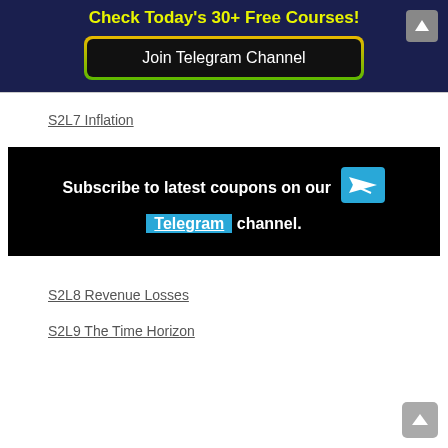Check Today's 30+ Free Courses!
Join Telegram Channel
S2L7 Inflation
[Figure (infographic): Black banner with text: Subscribe to latest coupons on our Telegram channel. Telegram is highlighted in blue with a paper-plane icon.]
S2L8 Revenue Losses
S2L9 The Time Horizon